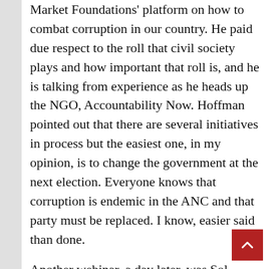Market Foundations' platform on how to combat corruption in our country. He paid due respect to the roll that civil society plays and how important that roll is, and he is talking from experience as he heads up the NGO, Accountability Now. Hoffman pointed out that there are several initiatives in process but the easiest one, in my opinion, is to change the government at the next election. Everyone knows that corruption is endemic in the ANC and that party must be replaced. I know, easier said than done.
Another webinar, a day later, was Sol Kramer's hosting of Thuli Madonsela, our erstwhile Public Protector and now a law professor at Stellenbosch University. She, to a large extent, followed the same theme as Hoffman, et cetera.